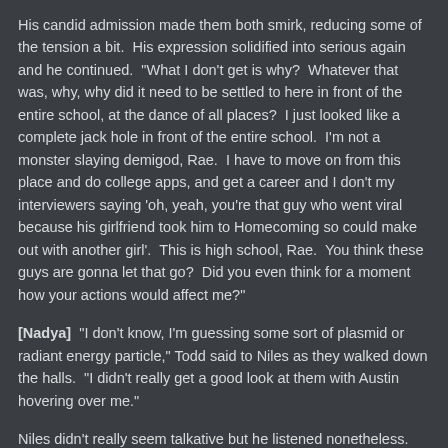His candid admission made them both smirk, reducing some of the tension a bit.  His expression solidified into serious again and he continued.  "What I don't get is why?  Whatever that was, why, why did it need to be settled to here in front of the entire school, at the dance of all places?  I just looked like a complete jack hole in front of the entire school.  I'm not a monster slaying demigod, Rae.  I have to move on from this place and do college apps, and get a career and I don't my interviewers saying 'oh, yeah, you're that guy who went viral because his girlfriend took him to Homecoming so could make out with another girl'.  This is high school, Rae.  You think these guys are gonna let that go?  Did you even think for a moment how your actions would affect me?"
[Nadya]  "I don't know, I'm guessing some sort of plasmid or radiant energy particle," Todd said to Niles as they walked down the halls.  "I didn't really get a good look at them with Austin hovering over me."
Niles didn't really seem talkative but he listened nonetheless.  "He probably saved your life," he murmured.  Niles had handed over the notes, both his and the one's Marius had supplied Todd.